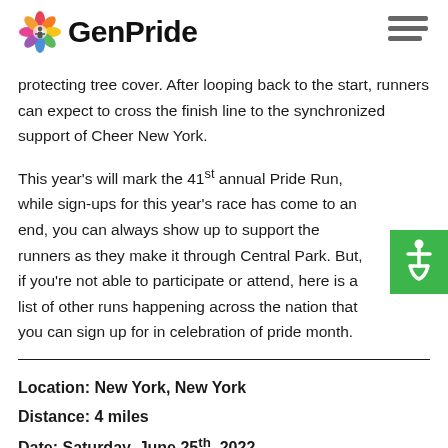GenPride
protecting tree cover. After looping back to the start, runners can expect to cross the finish line to the synchronized support of Cheer New York.
This year's will mark the 41st annual Pride Run, while sign-ups for this year's race has come to an end, you can always show up to support the runners as they make it through Central Park. But, if you're not able to participate or attend, here is a list of other runs happening across the nation that you can sign up for in celebration of pride month.
Location: New York, New York
Distance: 4 miles
Date: Saturday, June 25th, 2022
REGISTRATION